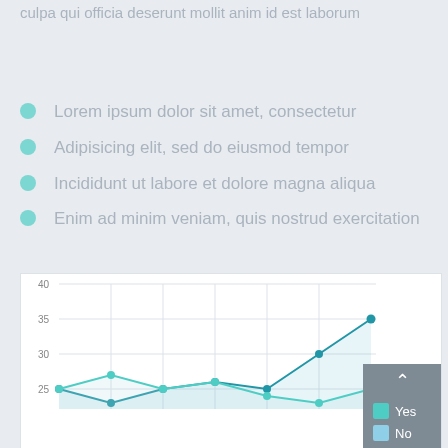culpa qui officia deserunt mollit anim id est laborum
Lorem ipsum dolor sit amet, consectetur
Adipisicing elit, sed do eiusmod tempor
Incididunt ut labore et dolore magna aliqua
Enim ad minim veniam, quis nostrud exercitation
[Figure (line-chart): ]